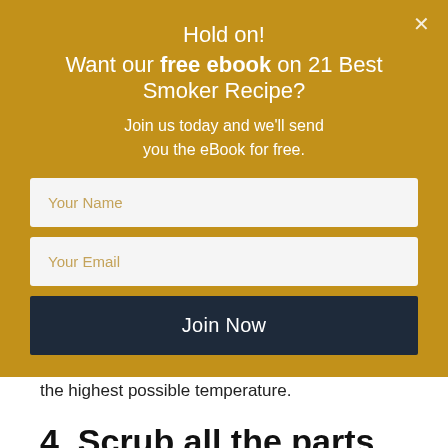Hold on! Want our free ebook on 21 Best Smoker Recipe?
Join us today and we'll send you the eBook for free.
[Figure (screenshot): Email signup form with Your Name field, Your Email field, and Join Now button on gold background]
And, once again [by Convertful] heating it to the highest possible temperature.
4. Scrub all the parts
After everything has cooled down inside the